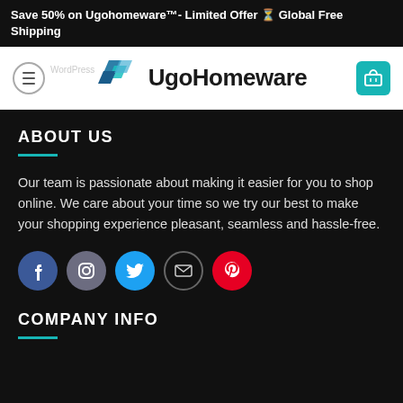Save 50% on Ugohomeware™- Limited Offer ⏳ Global Free Shipping
[Figure (logo): UgoHomeware logo with blue geometric tiles icon and bold text 'UgoHomeware', plus hamburger menu button on left and teal cart icon on right]
ABOUT US
Our team is passionate about making it easier for you to shop online. We care about your time so we try our best to make your shopping experience pleasant, seamless and hassle-free.
[Figure (infographic): Social media icons: Facebook (blue circle), Instagram (grey circle), Twitter (blue circle), Email (envelope outline), Pinterest (red circle)]
COMPANY INFO